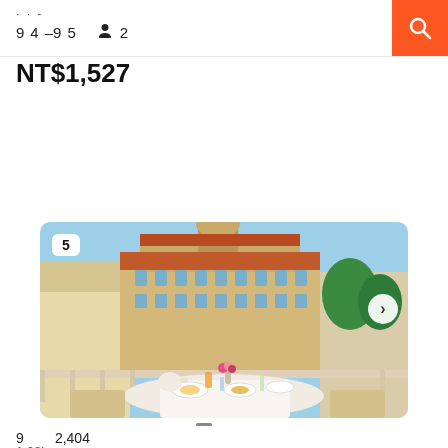9 4 –9 5   👥 2
NT$1,527
[Figure (photo): Hotel balcony with dining table set for breakfast, overlooking a grand historic European building (Dresden palace/castle) with ornate architecture, red roofs, and green trees under a blue sky.]
-
9   2,404
1.08km